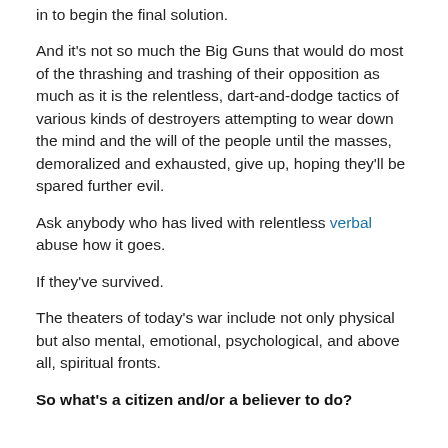in to begin the final solution.
And it’s not so much the Big Guns that would do most of the thrashing and trashing of their opposition as much as it is the relentless, dart-and-dodge tactics of various kinds of destroyers attempting to wear down the mind and the will of the people until the masses, demoralized and exhausted, give up, hoping they’ll be spared further evil.
Ask anybody who has lived with relentless verbal abuse how it goes.
If they’ve survived.
The theaters of today’s war include not only physical but also mental, emotional, psychological, and above all, spiritual fronts.
So what’s a citizen and/or a believer to do?